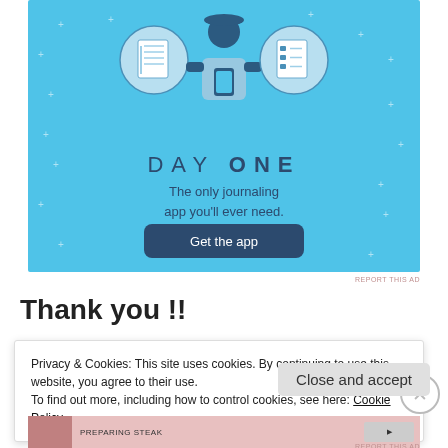[Figure (screenshot): Day One journaling app advertisement with blue background, illustration of person using phone with notebook and checklist icons, 'DAY ONE' title, tagline 'The only journaling app you'll ever need.' and a dark 'Get the app' button.]
REPORT THIS AD
Thank you !!
Privacy & Cookies: This site uses cookies. By continuing to use this website, you agree to their use.
To find out more, including how to control cookies, see here: Cookie Policy
Close and accept